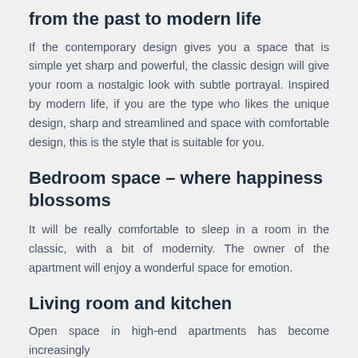from the past to modern life
If the contemporary design gives you a space that is simple yet sharp and powerful, the classic design will give your room a nostalgic look with subtle portrayal. Inspired by modern life, if you are the type who likes the unique design, sharp and streamlined and space with comfortable design, this is the style that is suitable for you.
Bedroom space – where happiness blossoms
It will be really comfortable to sleep in a room in the classic, with a bit of modernity. The owner of the apartment will enjoy a wonderful space for emotion.
Living room and kitchen
Open space in high-end apartments has become increasingly